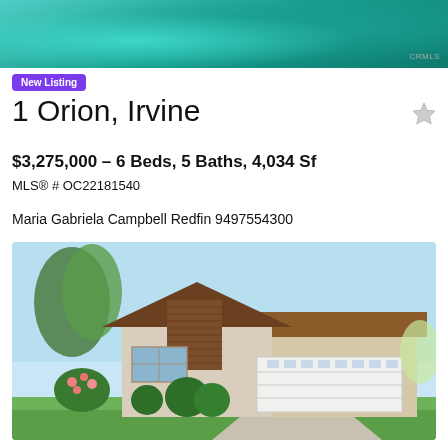[Figure (photo): Aerial/water photo at top of listing page with teal/turquoise water]
New Listing
1 Orion, Irvine
$3,275,000 - 6 Beds, 5 Baths, 4,034 Sf
MLS® # OC22181540
Maria Gabriela Campbell Redfin 9497554300
[Figure (photo): Exterior photo of a two-story suburban house with brown shingle accents, white garage door, green landscaping, and blue sky]